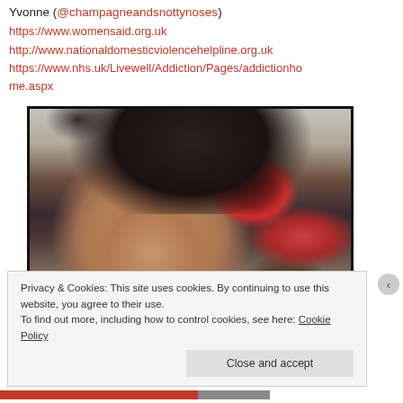Yvonne (@champagneandsnottynoses)
https://www.womensaid.org.uk
http://www.nationaldomesticviolencehelpline.org.uk
https://www.nhs.uk/Livewell/Addiction/Pages/addictionhome.aspx
[Figure (photo): A woman with dark hair taking a selfie close-up, with a red floral background and another person partially visible in the lower right corner.]
Privacy & Cookies: This site uses cookies. By continuing to use this website, you agree to their use.
To find out more, including how to control cookies, see here: Cookie Policy
Close and accept